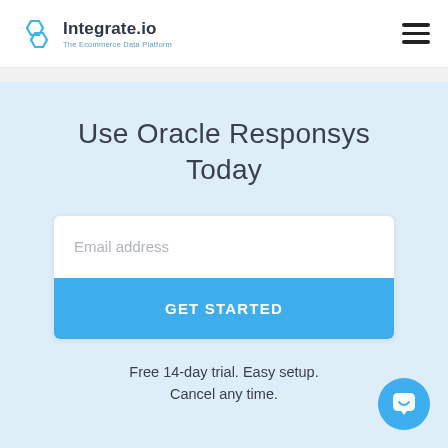Integrate.io — The Ecommerce Data Platform
Use Oracle Responsys Today
Email address
GET STARTED
Free 14-day trial. Easy setup. Cancel any time.
[Figure (illustration): Blue circular chat/support bubble icon in bottom-right corner]